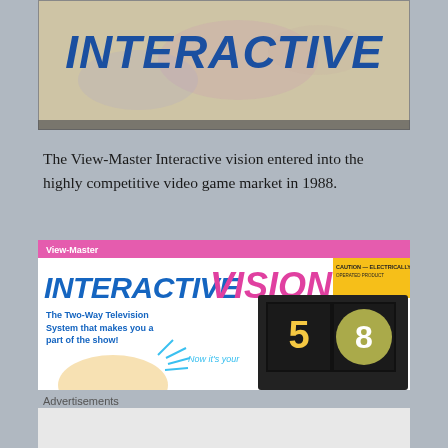[Figure (photo): Screenshot of a screen displaying the word INTERACTIVE in large blue bold letters on a light/yellowish speckled background]
The View-Master Interactive vision entered into the highly competitive video game market in 1988.
[Figure (photo): Box art for View-Master Interactive VISION product showing the logo in pink/magenta and blue letters, tagline 'The Two-Way Television System that makes you a part of the show!' with a child's face and TV screen with numbers 5 and 8]
Advertisements